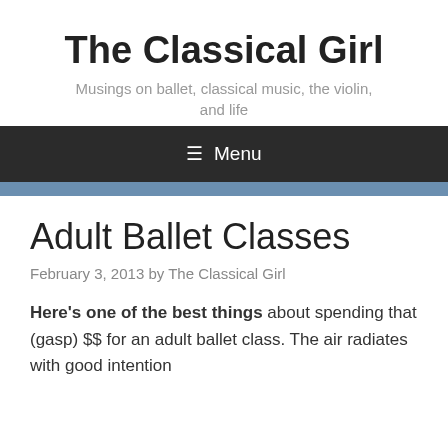The Classical Girl
Musings on ballet, classical music, the violin, and life
≡ Menu
Adult Ballet Classes
February 3, 2013 by The Classical Girl
Here's one of the best things about spending that (gasp) $$ for an adult ballet class. The air radiates with good intention